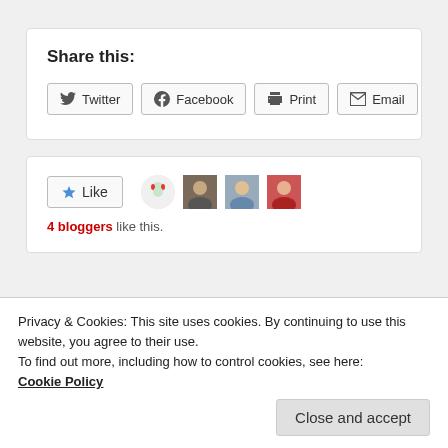Share this:
Twitter  Facebook  Print  Email
[Figure (other): Like button with star icon and 4 blogger avatar thumbnails]
4 bloggers like this.
Privacy & Cookies: This site uses cookies. By continuing to use this website, you agree to their use.
To find out more, including how to control cookies, see here:
Cookie Policy
Close and accept
November 2, 2015   Flipside